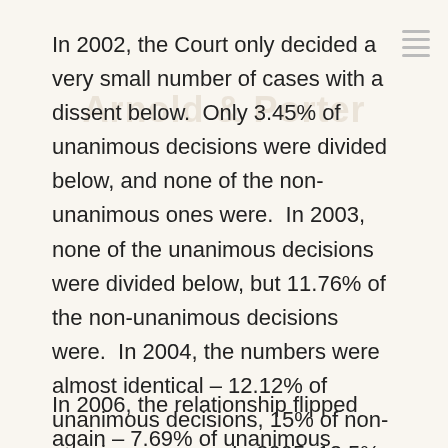In 2002, the Court only decided a very small number of cases with a dissent below.  Only 3.45% of unanimous decisions were divided below, and none of the non-unanimous ones were.  In 2003, none of the unanimous decisions were divided below, but 11.76% of the non-unanimous decisions were.  In 2004, the numbers were almost identical – 12.12% of unanimous decisions, 15% of non-unanimous ones.  In 2005, 12.5% of unanimous decisions were divided below, but none of the non-unanimous decisions were.
In 2006, the relationship flipped again – 7.69% of unanimous decisions were divided below,